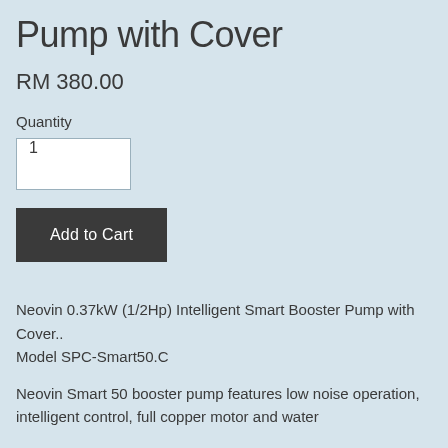Pump with Cover
RM 380.00
Quantity
1
Add to Cart
Neovin 0.37kW (1/2Hp) Intelligent Smart Booster Pump with Cover..
Model SPC-Smart50.C
Neovin Smart 50 booster pump features low noise operation, intelligent control, full copper motor and water short...